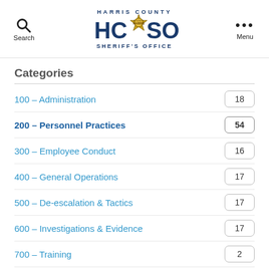[Figure (logo): Harris County Sheriff's Office logo with HCSO text and badge emblem]
Categories
100 – Administration
200 – Personnel Practices
300 – Employee Conduct
400 – General Operations
500 – De-escalation & Tactics
600 – Investigations & Evidence
700 – Training
800 – Vehicle Operations